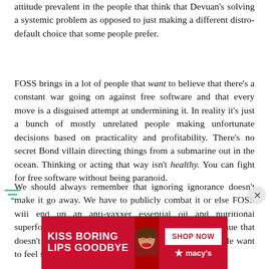attitude prevalent in the people that think that Devuan's solving a systemic problem as opposed to just making a different distro-default choice that some people prefer.
FOSS brings in a lot of people that want to believe that there's a constant war going on against free software and that every move is a disguised attempt at undermining it. In reality it's just a bunch of mostly unrelated people making unfortunate decisions based on practicality and profitability. There's no secret Bond villain directing things from a submarine out in the ocean. Thinking or acting that way isn't healthy. You can fight for free software without being paranoid.
We should always remember that ignoring ignorance doesn't make it go away. We have to publicly combat it or else FOSS will end up an anti-vaxxer essential oil and nutritional superfood peddling MLM cesspool like every other venue that doesn't actively discourage superstitious nonsense. People want to feel special, and that desire is an easy target for
[Figure (other): Advertisement banner for Macy's: red background with text 'KISS BORING LIPS GOODBYE', a photo of a woman's face with red lips, a 'SHOP NOW' button, and the Macy's star logo.]